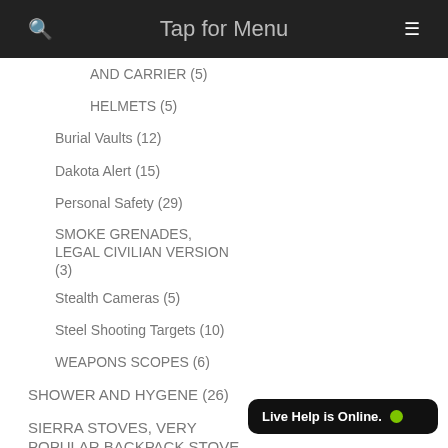Tap for Menu
AND CARRIER (5)
HELMETS (5)
Burial Vaults (12)
Dakota Alert (15)
Personal Safety (29)
SMOKE GRENADES, LEGAL CIVILIAN VERSION (3)
Stealth Cameras (5)
Steel Shooting Targets (10)
WEAPONS SCOPES (6)
SHOWER AND HYGENE (26)
SIERRA STOVES, VERY POPULAR BACKPACK STOVE (6)
Signalling & Rescue (15)